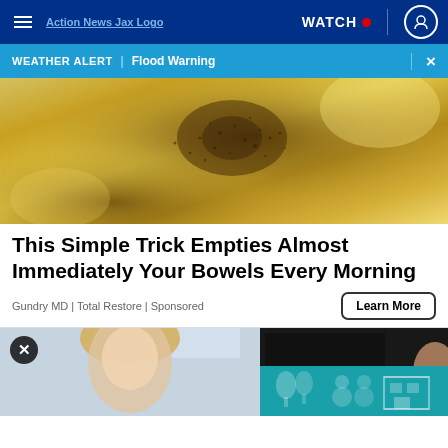≡ Action News Jax Logo | WATCH • | 👤
WEATHER ALERT | Flood Warning ×
[Figure (photo): Close-up photo of golden/yellow granular substance on a surface, possibly seeds or spice]
This Simple Trick Empties Almost Immediately Your Bowels Every Morning
Gundry MD | Total Restore | Sponsored
Learn More
[Figure (screenshot): Bottom section showing a person with blonde hair on left side and a dark background on right, with a teal advertisement banner overlay and a close X button]